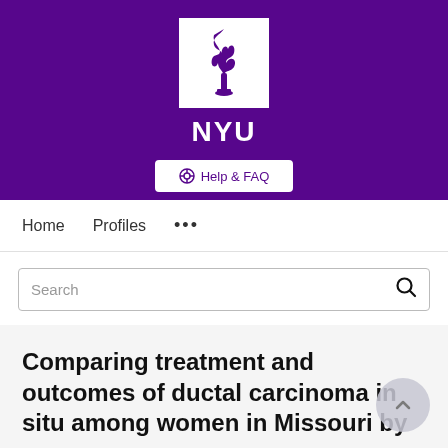[Figure (logo): NYU logo on purple background with torch icon in white box and NYU text, plus Help & FAQ button]
Home   Profiles   ...
Search
Comparing treatment and outcomes of ductal carcinoma in situ among women in Missouri by race